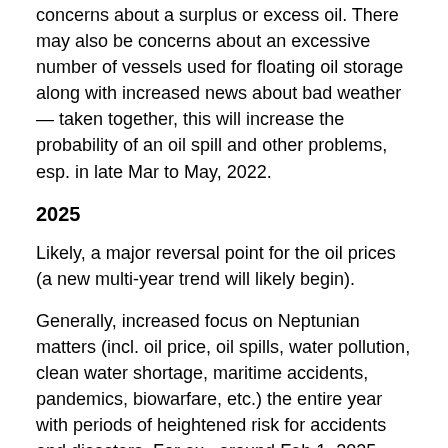concerns about a surplus or excess oil. There may also be concerns about an excessive number of vessels used for floating oil storage along with increased news about bad weather — taken together, this will increase the probability of an oil spill and other problems, esp. in late Mar to May, 2022.
2025
Likely, a major reversal point for the oil prices (a new multi-year trend will likely begin).
Generally, increased focus on Neptunian matters (incl. oil price, oil spills, water pollution, clean water shortage, maritime accidents, pandemics, biowarfare, etc.) the entire year with periods of heightened risk for accidents and disasters. For ex., around Feb 1, 2025 could be one such disaster and it may result in a major oil price reversal. Apr